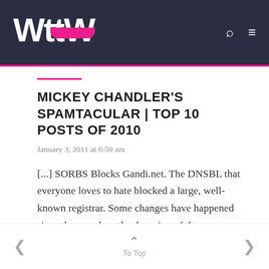[Figure (logo): WttW logo in white bold text on dark navy background with pink/magenta underline decoration, with search and menu icons on the right]
MICKEY CHANDLER'S SPAMTACULAR | TOP 10 POSTS OF 2010
January 3, 2011 at 6:50 am
[...] SORBS Blocks Gandi.net. The DNSBL that everyone loves to hate blocked a large, well-known registrar. Some changes have happened since then, such as the dropping of the requirement to pay a fee for delisting. But, Steve Atkins at Word to the Wise has put up a
< To Top >